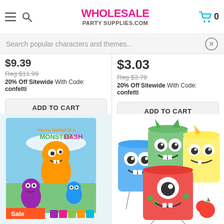WHOLESALE PARTY SUPPLIES.COM — Cart: 0
Search popular characters and themes...
$9.39
Reg $11.99
20% Off Sitewide With Code: confetti
ADD TO CART
$3.03
Reg $3.79
20% Off Sitewide With Code: confetti
ADD TO CART
[Figure (photo): Monster Bash party invitation card showing colorful cartoon monsters with text 'You're Invited to a MONSTER BASH'. Sale badge and color swatches visible at bottom.]
[Figure (photo): Four colorful drawstring bags with monster faces (blue, green, yellow, red), displayed with a small red apple prop.]